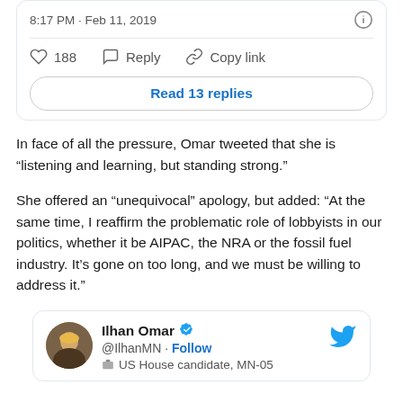[Figure (screenshot): Top portion of a Twitter embed card showing timestamp '8:17 PM · Feb 11, 2019', like count 188, Reply and Copy link actions, and a 'Read 13 replies' button.]
In face of all the pressure, Omar tweeted that she is “listening and learning, but standing strong.”
She offered an “unequivocal” apology, but added: “At the same time, I reaffirm the problematic role of lobbyists in our politics, whether it be AIPAC, the NRA or the fossil fuel industry. It’s gone on too long, and we must be willing to address it.”
[Figure (screenshot): Twitter embed card header showing Ilhan Omar's profile with avatar, verified checkmark, @IlhanMN handle with Follow link, and 'US House candidate, MN-05' job label, with Twitter bird icon top right.]